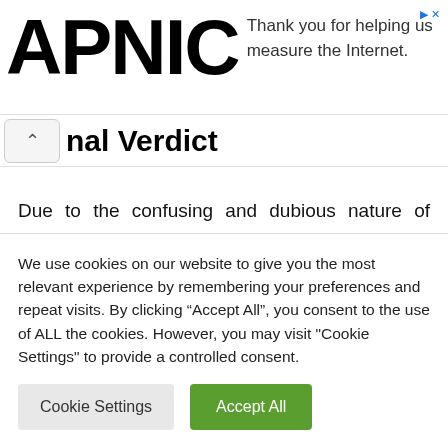[Figure (logo): APNIC logo in large bold black text alongside advertisement text: 'Thank you for helping us measure the Internet.']
nal Verdict
Due to the confusing and dubious nature of Rovelop Clothing, our suggestion is that you avoid this website and have more research about the answers of Is Rovelop Clothing Legit? You should also learn how to Get money refund on credit card. If you have
We use cookies on our website to give you the most relevant experience by remembering your preferences and repeat visits. By clicking “Accept All”, you consent to the use of ALL the cookies. However, you may visit "Cookie Settings" to provide a controlled consent.